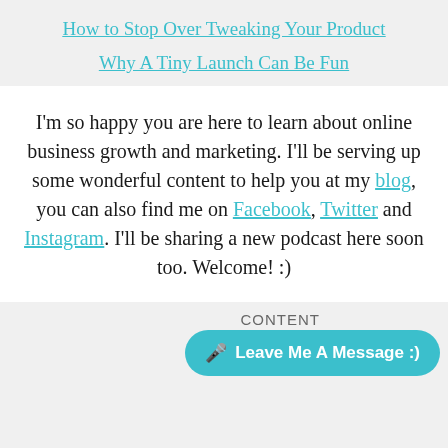How to Stop Over Tweaking Your Product
Why A Tiny Launch Can Be Fun
I'm so happy you are here to learn about online business growth and marketing. I'll be serving up some wonderful content to help you at my blog, you can also find me on Facebook, Twitter and Instagram. I'll be sharing a new podcast here soon too. Welcome! :)
Leave Me A Message :)